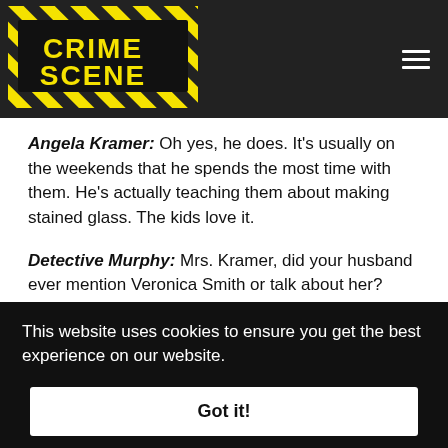[Figure (logo): Crime Scene website logo — yellow and black text on dark background header bar with hamburger menu icon]
Angela Kramer: Oh yes, he does. It's usually on the weekends that he spends the most time with them. He's actually teaching them about making stained glass. The kids love it.
Detective Murphy: Mrs. Kramer, did your husband ever mention Veronica Smith or talk about her?
Angela Kramer: He has mentioned her a few times, yes.
This website uses cookies to ensure you get the best experience on our website.
Got it!